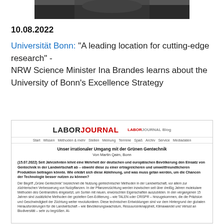[Figure (photo): Top portion of a photo showing a person, partially cropped]
10.08.2022
Universität Bonn: "A leading location for cutting-edge research" - NRW Science Minister Ina Brandes learns about the University of Bonn's Excellence Strategy
[Figure (screenshot): Screenshot of LaborJournal website showing article 'Unser irrationaler Umgang mit der Grünen Gentechnik' by Martin Qaim, Bonn, dated 15.07.2022, with navigation menu and partial article text about green genetic technology in agriculture.]